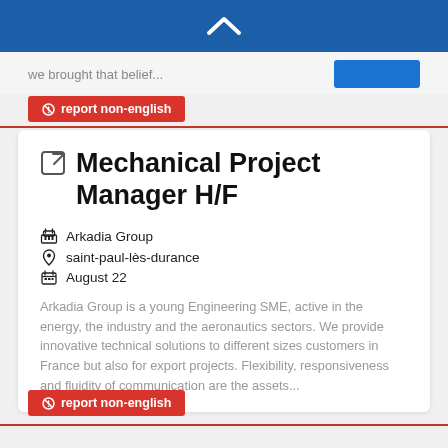[Figure (other): Blue navigation bar with white upward chevron arrow icon]
we brought that belief...
⊘ report non-english
Mechanical Project Manager H/F
Arkadia Group
saint-paul-lès-durance
August 22
Arkadia Group is a young Engineering SME, active in the energy, the industry and the aeronautics sectors. We provide innovative technical solutions to different sizes customers in France but also for export projects. Flexibility, responsiveness and fluidity of communication are the assets...
⊘ report non-english